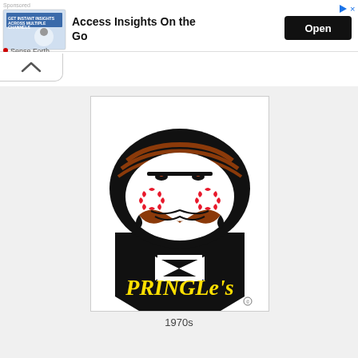[Figure (logo): Ad banner with thumbnail showing a woman with text 'GET INSTANT INSIGHTS ACROSS MULTIPLE CHANNELS' and 'Access Insights On the Go' with an Open button and Sense Forth branding]
[Figure (logo): Pringles 1970s era logo featuring Julius Pringles mascot face with mustache, bowtie collar, and 'PRINGLE'S' text in yellow on black background]
1970s